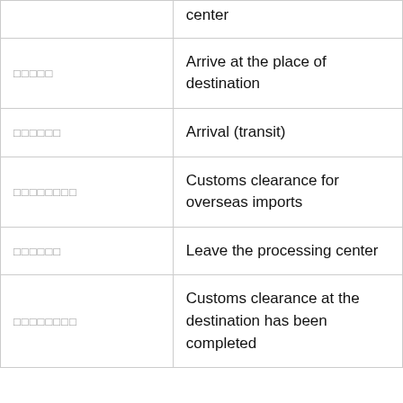| Code | Description |
| --- | --- |
| □□□□□ | center |
| □□□□□ | Arrive at the place of destination |
| □□□□□□ | Arrival (transit) |
| □□□□□□□□ | Customs clearance for overseas imports |
| □□□□□□ | Leave the processing center |
| □□□□□□□□ | Customs clearance at the destination has been completed |